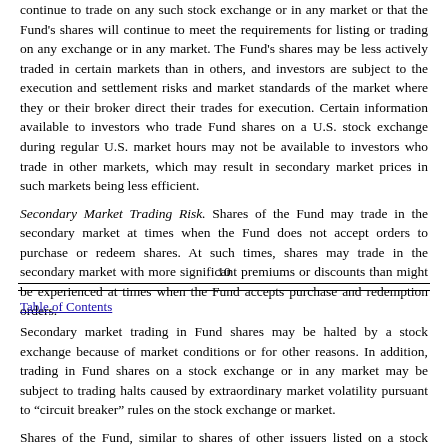continue to trade on any such stock exchange or in any market or that the Fund's shares will continue to meet the requirements for listing or trading on any exchange or in any market. The Fund's shares may be less actively traded in certain markets than in others, and investors are subject to the execution and settlement risks and market standards of the market where they or their broker direct their trades for execution. Certain information available to investors who trade Fund shares on a U.S. stock exchange during regular U.S. market hours may not be available to investors who trade in other markets, which may result in secondary market prices in such markets being less efficient.
Secondary Market Trading Risk. Shares of the Fund may trade in the secondary market at times when the Fund does not accept orders to purchase or redeem shares. At such times, shares may trade in the secondary market with more significant premiums or discounts than might be experienced at times when the Fund accepts purchase and redemption orders.
10
Table of Contents
Secondary market trading in Fund shares may be halted by a stock exchange because of market conditions or for other reasons. In addition, trading in Fund shares on a stock exchange or in any market may be subject to trading halts caused by extraordinary market volatility pursuant to “circuit breaker” rules on the stock exchange or market.
Shares of the Fund, similar to shares of other issuers listed on a stock exchange,